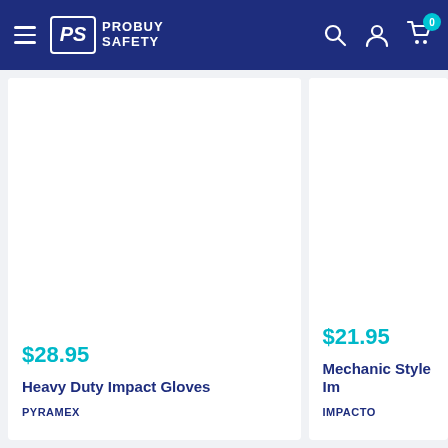ProBuy Safety - navigation header
$28.95
Heavy Duty Impact Gloves
PYRAMEX
$21.95
Mechanic Style Im...
IMPACTO